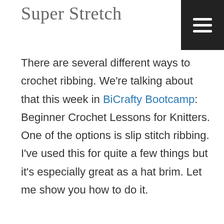Super Stretch
[Figure (other): Hamburger menu icon button in black square, top-right corner]
There are several different ways to crochet ribbing. We're talking about that this week in BiCrafty Bootcamp: Beginner Crochet Lessons for Knitters. One of the options is slip stitch ribbing. I've used this for quite a few things but it's especially great as a hat brim. Let me show you how to do it.